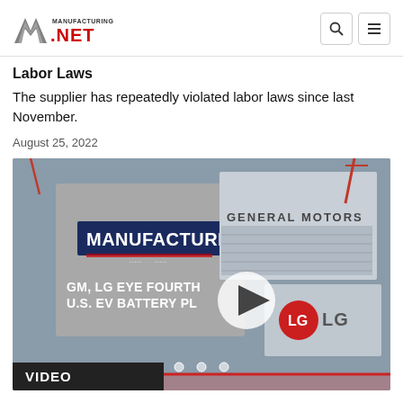Manufacturing.net
Labor Laws
The supplier has repeatedly violated labor laws since last November.
August 25, 2022
[Figure (screenshot): Video thumbnail showing Manufacturing.net branded content with text 'GM, LG EYE FOURTH U.S. EV BATTERY PL...' overlaid on a split image: left side shows a gray Manufacturing brand card, right side shows a General Motors building and an LG building. A play button circle is visible in the center. Bottom shows dots indicating a slideshow. A 'VIDEO' label appears at the bottom left.]